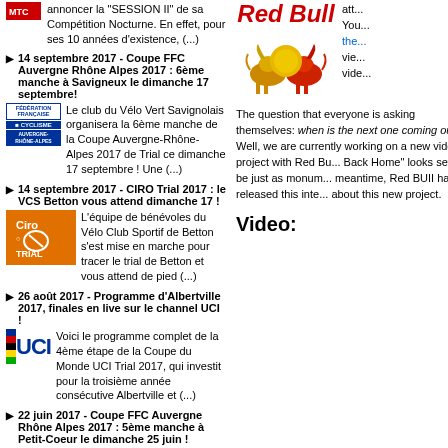annoncer la "SESSION II" de sa Compétition Nocturne. En effet, pour ses 10 années d'existence, (...)
14 septembre 2017 - Coupe FFC Auvergne Rhône Alpes 2017 : 6ème manche à Savigneux le dimanche 17 septembre!
Le club du Vélo Vert Savignolais organisera la 6ème manche de la Coupe Auvergne-Rhône-Alpes 2017 de Trial ce dimanche 17 septembre ! Une (...)
14 septembre 2017 - CIRO Trial 2017 : le VCS Betton vous attend dimanche 17 !
L'équipe de bénévoles du Vélo Club Sportif de Betton s'est mise en marche pour tracer le trial de Betton et vous attend de pied (...)
26 août 2017 - Programme d'Albertville 2017, finales en live sur le channel UCI !
Voici le programme complet de la 4ème étape de la Coupe du Monde UCI Trial 2017, qui investit pour la troisième année consécutive Albertville et (...)
22 juin 2017 - Coupe FFC Auvergne Rhône Alpes 2017 : 5ème manche à Petit-Coeur le dimanche 25 juin !
Le club de Vélo Trial Petit-Coeur La Léchère organisera la 5ème
[Figure (logo): Red Bull logo with bull graphic and text 'Red Bull']
The question that everyone is asking themselves: when is the next one coming out? Well, we are currently working on a new video project with Red Bu... Back Home" looks set to be just as monum... meantime, Red BUII have released this inte... about this new project.
Video: